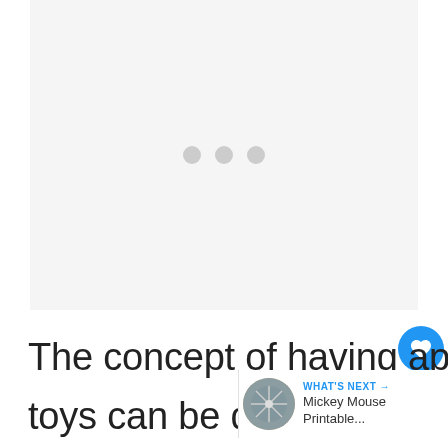[Figure (other): Ad placeholder / loading area with three grey dots centered on a light grey background]
The concept of having apps with toys can be quite hit or miss experience but I was pretty
[Figure (other): WHAT'S NEXT → Mickey Mouse Printable... navigation widget with circular thumbnail of a snowflake/ornament image]